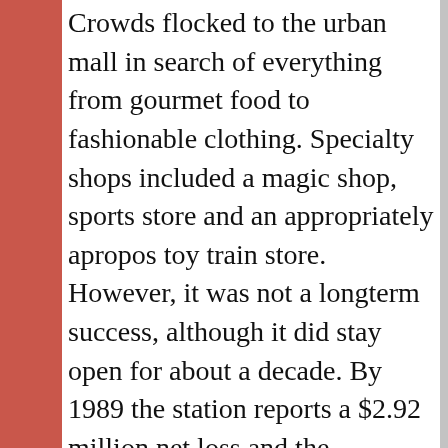Crowds flocked to the urban mall in search of everything from gourmet food to fashionable clothing. Specialty shops included a magic shop, sports store and an appropriately apropos toy train store. However, it was not a longterm success, although it did stay open for about a decade. By 1989 the station reports a $2.92 million net loss and the following year, Union Station reports a $3.38 million net loss. In 1991 the Borns turn over their long-term lease for Union Station to the Balcor Co., a Skokie, Ill., finance and real estate firm that held a $23 million mortgage on the station. In 1992 station officials report business is picking up, but still ask the city to defer payments on loans the city made to the station. In 1993, the station reported turning a profit of $431,000-the first time since it's opening in 1986 that it has been in the black.